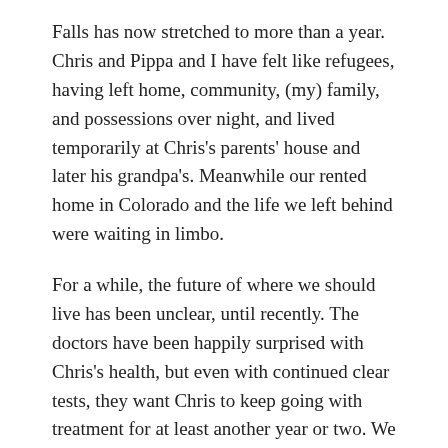Falls has now stretched to more than a year. Chris and Pippa and I have felt like refugees, having left home, community, (my) family, and possessions over night, and lived temporarily at Chris's parents' house and later his grandpa's. Meanwhile our rented home in Colorado and the life we left behind were waiting in limbo.
For a while, the future of where we should live has been unclear, until recently. The doctors have been happily surprised with Chris's health, but even with continued clear tests, they want Chris to keep going with treatment for at least another year or two. We soon saw the writing on the wall: It's time to move to Sioux Falls.
Living near Chris's family this past year has been great, and we've come to appreciate both new friendships and renewed old ones, but we have had to grieve the loss of